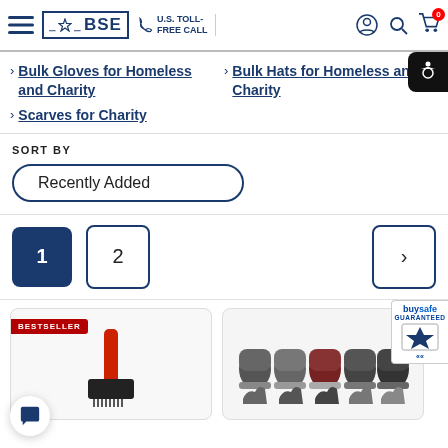BSE — U.S. TOLL-FREE CALL navigation header with menu, logo, phone, account, search, cart icons
Bulk Gloves for Homeless and Charity
Bulk Hats for Homeless and Charity
Scarves for Charity
SORT BY
Recently Added
1
2
[Figure (photo): Product card with BESTSELLER badge showing a red and black ice scraper tool]
[Figure (photo): Product card showing bulk winter hats in multiple colors and gloves below them]